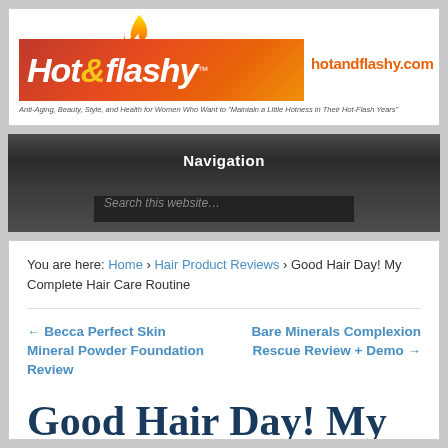[Figure (logo): Hot & Flashy website logo with flame graphic, red/orange gradient background, and tagline. URL hotandflashy.com shown in orange.]
Navigation
Search this website…
You are here: Home › Hair Product Reviews › Good Hair Day! My Complete Hair Care Routine
← Becca Perfect Skin Mineral Powder Foundation Review
Bare Minerals Complexion Rescue Review + Demo →
Good Hair Day! My